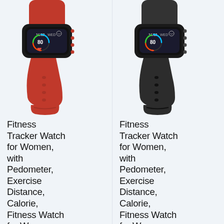[Figure (photo): Red fitness tracker smart band with color display showing 11/02 WED and heart rate 80, red silicone strap]
Fitness Tracker Watch for Women, with Pedometer, Exercise Distance, Calorie, Fitness Watch for Women
[Figure (photo): Black fitness tracker smart band with color display showing 11/02 WED and heart rate 80, black silicone strap]
Fitness Tracker Watch for Women, with Pedometer, Exercise Distance, Calorie, Fitness Watch for Women